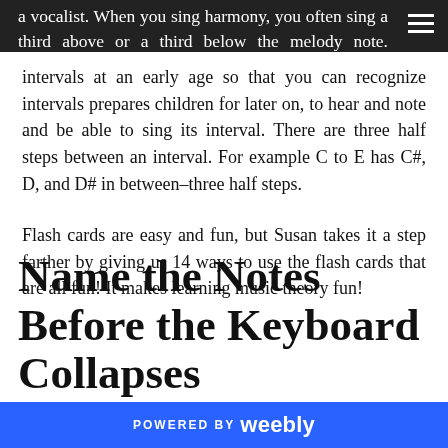a vocalist. When you sing harmony, you often sing a third above or a third below the melody note. Understanding
intervals at an early age so that you can recognize intervals prepares children for later on, to hear and note and be able to sing its interval. There are three half steps between an interval. For example C to E has C#, D, and D# in between–three half steps.
Flash cards are easy and fun, but Susan takes it a step farther by giving us 14 ways to use the flash cards that are all fun! It makes learning music theory fun!
Name the Notes Before the Keyboard Collapses
POWERED BY weebly